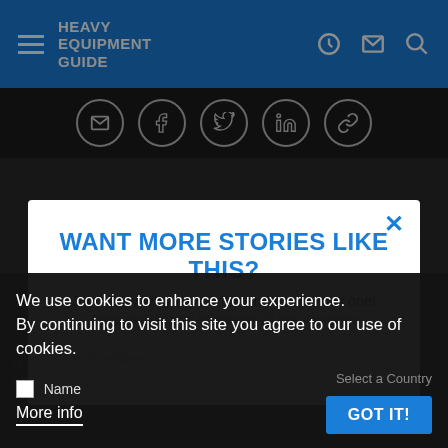HEAVY EQUIPMENT GUIDE
[Figure (screenshot): Social share icons bar with email, facebook, twitter, linkedin, and link icons in circles]
[Figure (photo): Dark background image of people]
WANT MORE STORIES LIKE THIS?
Join our weekly newsletter and never miss one!
Fields marked with an asterisk (*) are mandatory
Email address
Name
Select a Country
We use cookies to enhance your experience.
By continuing to visit this site you agree to our use of cookies.
More info
GOT IT!